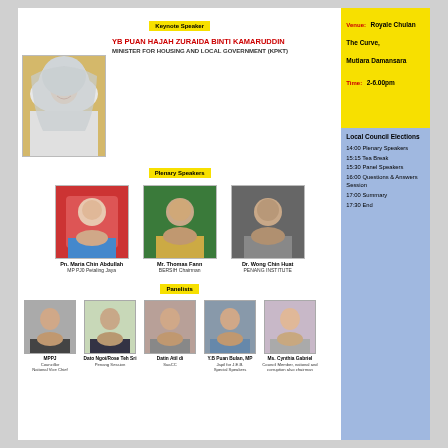Venue: Royale Chulan The Curve, Mutiara Damansara
Time: 2-6.00pm
Keynote Speaker
YB PUAN HAJAH ZURAIDA BINTI KAMARUDDIN
MINISTER FOR HOUSING AND LOCAL GOVERNMENT (KPKT)
Plenary Speakers
[Figure (photo): Photo of Pn. Maria Chin Abdullah]
Pn. Maria Chin Abdullah
MP PJ0 Petaling Jaya
[Figure (photo): Photo of Mr. Thomas Fann]
Mr. Thomas Fann
BERSIH Chairman
[Figure (photo): Photo of Dr. Wong Chin Huat]
Dr. Wong Chin Huat
PENANG INSTITUTE
Panelists
MPPJ Councillor, National Vice Chief
Dato Ngoi/Rose Teh Sri Penang Session
Datin Atil di SuaCC
Y.B Puan Bulan, MP, Japil for J.E.B. Special Speakers
Ms. Cynthia Gabriel, Council Member, national and corruption also chairman
Local Council Elections
14:00 Plenary Speakers
15:15 Tea Break
15:30 Panel Speakers
16:00 Questions & Answers Session
17:00 Summary
17:30 End